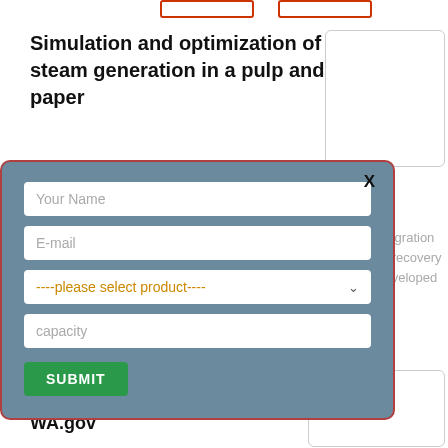Simulation and optimization of steam generation in a pulp and paper
l process integration eration part (recovery bine) was developed
[Figure (other): Contact form modal with fields: Your Name, E-mail, please select product dropdown, capacity input, and a SUBMIT button. Modal has a steel-blue background with rounded corners and a red border. Close button (X) is in the top-right corner.]
More
Pulp and Paper Mill Boilers – Access WA.gov